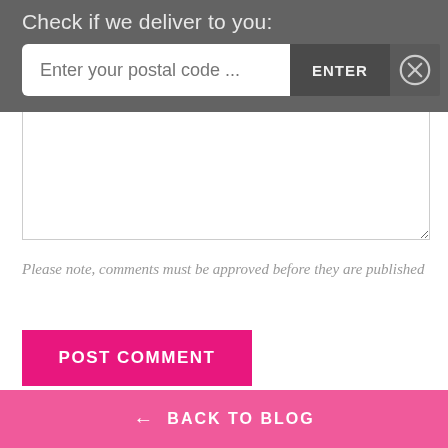Check if we deliver to you:
[Figure (screenshot): Postal code input field with placeholder 'Enter your postal code ...' and an ENTER button and a close (X) button on a dark gray bar]
Please note, comments must be approved before they are published
POST COMMENT
← BACK TO BLOG